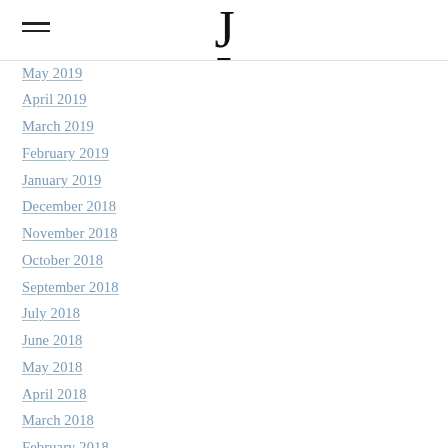J
May 2019
April 2019
March 2019
February 2019
January 2019
December 2018
November 2018
October 2018
September 2018
July 2018
June 2018
May 2018
April 2018
March 2018
February 2018
January 2018
December 2017